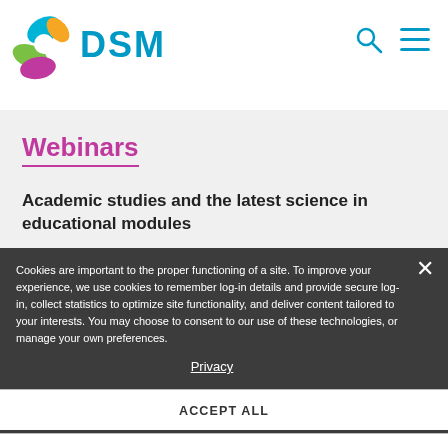DSM
Webinars
Academic studies and the latest science in educational modules
Videos exploring the growing role of vitamin APIs and
Cookies are important to the proper functioning of a site. To improve your experience, we use cookies to remember log-in details and provide secure log-in, collect statistics to optimize site functionality, and deliver content tailored to your interests. You may choose to consent to our use of these technologies, or manage your own preferences.
Privacy
ACCEPT ALL
DECLINE ALL
MANAGE SETTINGS